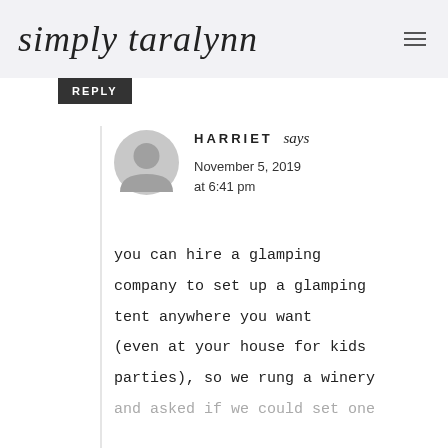simply taralynn
[Figure (other): Dark button labeled REPLY]
[Figure (other): Gray default user avatar circle]
HARRIET says
November 5, 2019 at 6:41 pm
you can hire a glamping company to set up a glamping tent anywhere you want (even at your house for kids parties), so we rung a winery and asked if we could set one up there and they were more